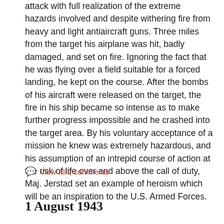attack with full realization of the extreme hazards involved and despite withering fire from heavy and light antiaircraft guns. Three miles from the target his airplane was hit, badly damaged, and set on fire. Ignoring the fact that he was flying over a field suitable for a forced landing, he kept on the course. After the bombs of his aircraft were released on the target, the fire in his ship became so intense as to make further progress impossible and he crashed into the target area. By his voluntary acceptance of a mission he knew was extremely hazardous, and his assumption of an intrepid course of action at the risk of life over and above the call of duty, Maj. Jerstad set an example of heroism which will be an inspiration to the U.S. Armed Forces.
View all 2 comments
1 August 1943